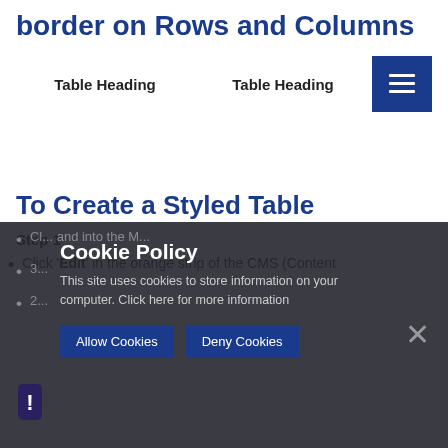border on Rows and Columns
| Table Heading | Table Heading |
| --- | --- |
To Create a Styled Table
Step 1
Click 'Edit' in the orange strip of the CMS (Content M...
Cl... and into the M...
3...
2...
Cookie Policy
This site uses cookies to store information on your computer. Click here for more information
Allow Cookies | Deny Cookies